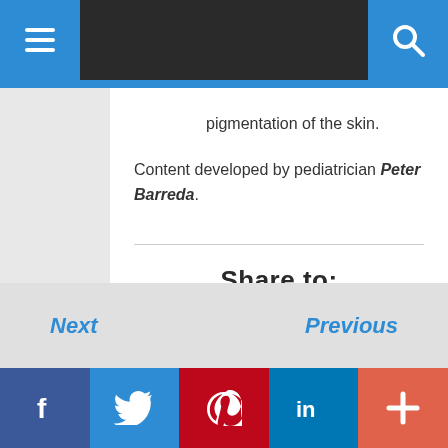Navigation bar with menu and search
pigmentation of the skin.
Content developed by pediatrician Peter Barreda.
[Figure (infographic): Share to: social media buttons for Facebook, Twitter, Pinterest, and a plus/more button]
Next | Previous navigation and social media bottom bar with Facebook, Twitter, Pinterest, LinkedIn, Plus